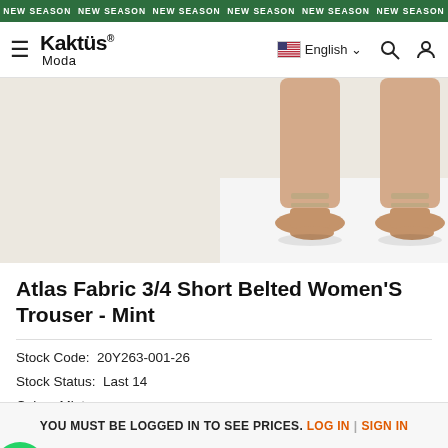NEW SEASON NEW SEASON NEW SEASON NEW SEASON NEW SEASON NEW SEASON
[Figure (logo): Kaktüs Moda logo with hamburger menu, language selector (English), search and user icons]
[Figure (photo): Product photo showing legs wearing nude/beige strappy high heel sandals on white background]
Atlas Fabric 3/4 Short Belted Women'S Trouser - Mint
Stock Code: 20Y263-001-26
Stock Status: Last 14
Color: Mint
Type of Prints: Unprinted
Patterning: Plain
YOU MUST BE LOGGED IN TO SEE PRICES. LOG IN | SIGN IN